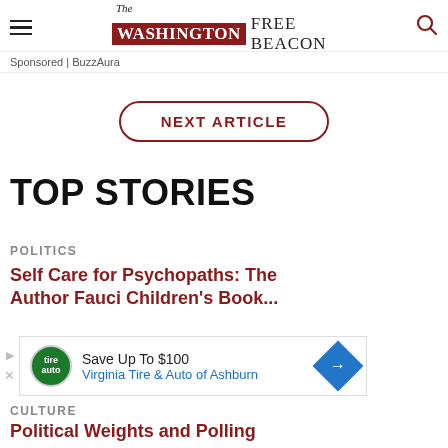The Washington Free Beacon
Sponsored | BuzzAura
NEXT ARTICLE
TOP STORIES
POLITICS
Self Care for Psychopaths: The Author Fauci Children's Book...
Save Up To $100 Virginia Tire & Auto of Ashburn
CULTURE
Political Weights and Polling